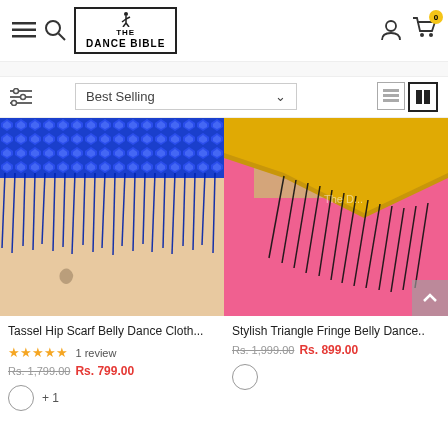The Dance Bible — navigation header with logo, search, account and cart icons
Best Selling (sort dropdown)
[Figure (photo): Blue sequined tassel hip scarf belly dance clothing on a model]
[Figure (photo): Gold and black triangle fringe belly dance hip scarf on a model in pink skirt]
Tassel Hip Scarf Belly Dance Cloth...
★★★★★ 1 review
Rs. 1,799.00  Rs. 799.00
Stylish Triangle Fringe Belly Dance..
Rs. 1,999.00  Rs. 899.00